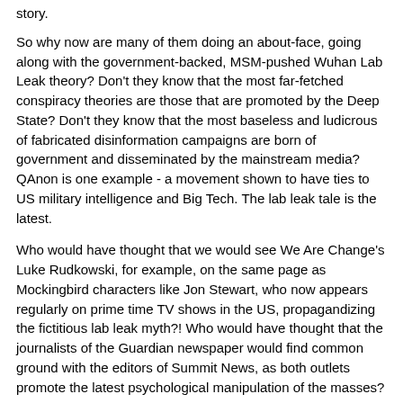story.
So why now are many of them doing an about-face, going along with the government-backed, MSM-pushed Wuhan Lab Leak theory? Don't they know that the most far-fetched conspiracy theories are those that are promoted by the Deep State? Don't they know that the most baseless and ludicrous of fabricated disinformation campaigns are born of government and disseminated by the mainstream media? QAnon is one example - a movement shown to have ties to US military intelligence and Big Tech. The lab leak tale is the latest.
Who would have thought that we would see We Are Change's Luke Rudkowski, for example, on the same page as Mockingbird characters like Jon Stewart, who now appears regularly on prime time TV shows in the US, propagandizing the fictitious lab leak myth?! Who would have thought that the journalists of the Guardian newspaper would find common ground with the editors of Summit News, as both outlets promote the latest psychological manipulation of the masses?
It is all simply an effort to convince the population that SARS-COV-2 and COVID-19 exist.
They don't.
Jon Stewart - Peddler of the Wuhan Lab Leak Theory
Almost a year ago, I wrote a book called The COVID-19 Illusion; A Cacophony of Lies. I concluded therein the same about...